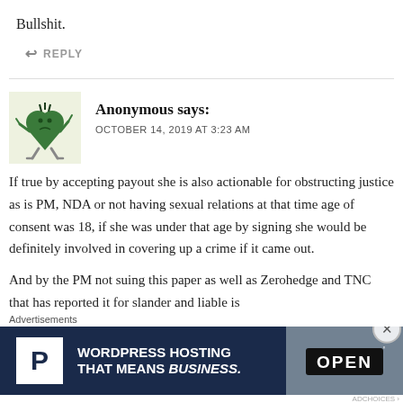Bullshit.
↩ REPLY
Anonymous says:
OCTOBER 14, 2019 AT 3:23 AM
[Figure (illustration): Avatar image of a cartoon green heart-shaped character with arms and legs on a light yellow-green background]
If true by accepting payout she is also actionable for obstructing justice as is PM, NDA or not having sexual relations at that time age of consent was 18, if she was under that age by signing she would be definitely involved in covering up a crime if it came out.
And by the PM not suing this paper as well as Zerohedge and TNC that has reported it for slander and liable is
[Figure (screenshot): WordPress hosting advertisement banner reading 'WORDPRESS HOSTING THAT MEANS BUSINESS.' with a P icon and an OPEN sign photo on dark blue background]